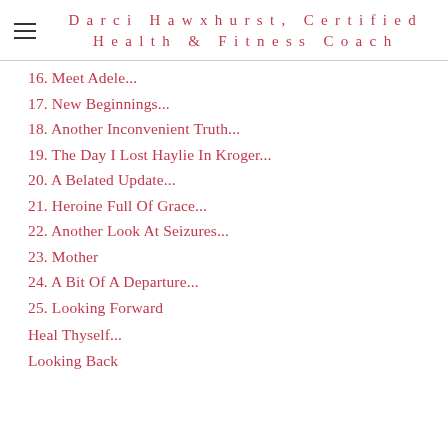Darci Hawxhurst, Certified Health & Fitness Coach
16. Meet Adele...
17. New Beginnings...
18. Another Inconvenient Truth...
19. The Day I Lost Haylie In Kroger...
20. A Belated Update...
21. Heroine Full Of Grace...
22. Another Look At Seizures...
23. Mother
24. A Bit Of A Departure...
25. Looking Forward
Heal Thyself...
Looking Back